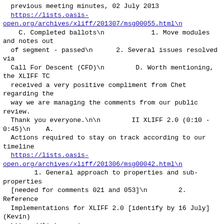previous meeting minutes, 02 July 2013
https://lists.oasis-open.org/archives/xliff/201307/msg00055.html\n
    C. Completed ballots\n            1. Move modules and notes out
  of segment - passed\n      2. Several issues resolved via
  Call For Descent (CFD)\n        D. Worth mentioning, the XLIFF TC
  received a very positive compliment from Chet regarding the
  way we are managing the comments from our public review.
  Thank you everyone.\n\n        II XLIFF 2.0 (0:10 - 0:45)\n    A.
  Actions required to stay on track according to our timeline
  https://lists.oasis-open.org/archives/xliff/201306/msg00042.html\n
        1. General approach to properties and sub-properties
  [needed for comments 021 and 053]\n        2. Reference
  Implementations for XLIFF 2.0 [identify by 16 July] (Kevin)
  https://lists.oasis-open.org/archives/xliff/201306/msg00040.html\n\n
    B. Public review completed\n      1. Comments are tracked
  on the wiki: review assignments and status\n